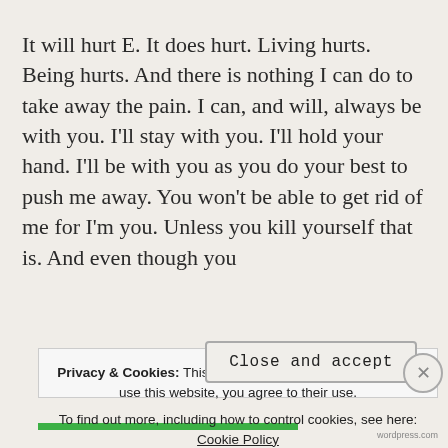It will hurt E. It does hurt. Living hurts. Being hurts. And there is nothing I can do to take away the pain. I can, and will, always be with you. I'll stay with you. I'll hold your hand. I'll be with you as you do your best to push me away. You won't be able to get rid of me for I'm you. Unless you kill yourself that is. And even though you
Privacy & Cookies: This site uses cookies. By continuing to use this website, you agree to their use.
To find out more, including how to control cookies, see here: Cookie Policy
Close and accept